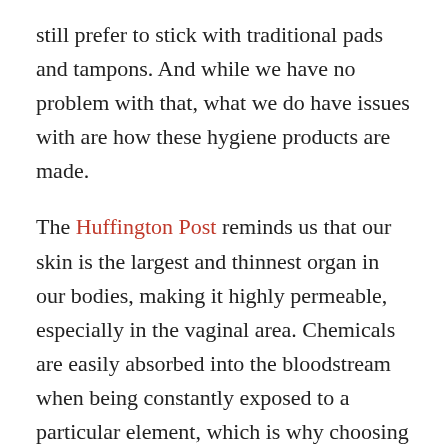still prefer to stick with traditional pads and tampons. And while we have no problem with that, what we do have issues with are how these hygiene products are made.
The Huffington Post reminds us that our skin is the largest and thinnest organ in our bodies, making it highly permeable, especially in the vaginal area. Chemicals are easily absorbed into the bloodstream when being constantly exposed to a particular element, which is why choosing organic tampons and pads is the smarter way to go.
Chlorine bleach is a major component used to give these products their bright white color, and aside